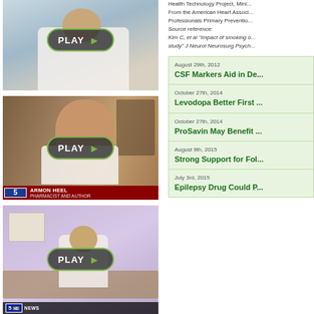[Figure (photo): Video thumbnail of a doctor in white coat with PLAY button overlay]
[Figure (photo): Video thumbnail of Armon Heel, Pharmacist and Author, on FOX 5 with PLAY button overlay]
[Figure (photo): Video thumbnail of a doctor in office with PLAY button overlay, FOX 5 HD News logo]
Health Technology Project, Mini... From the American Heart Associ... Professionals Primary Preventio... Source reference: Kim C, et al "Impact of smoking o... study" J Neurol Neurosurg Psych...
August 29th, 2012
CSF Markers Aid in De...
October 27th, 2014
Levodopa Better First ...
October 27th, 2014
ProSavin May Benefit ...
August 9th, 2015
Strong Support for Fol...
July 3rd, 2015
Epilepsy Drug Could P...